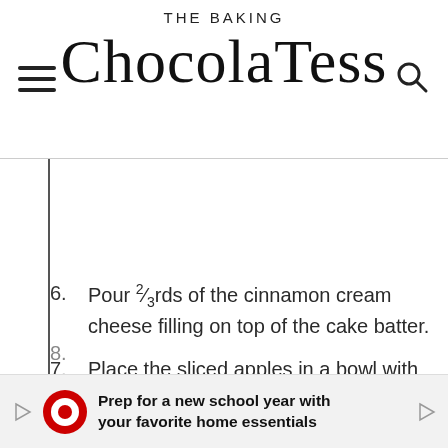THE BAKING ChocolaTess
Pour ⅔rds of the cinnamon cream cheese filling on top of the cake batter.
Place the sliced apples in a bowl with the brown sugar/cinnamon mixture and place ½ of them on top of the cream cheese layer.
8. (partially visible)
[Figure (other): Advertisement banner: Target logo with text 'Prep for a new school year with your favorite home essentials']